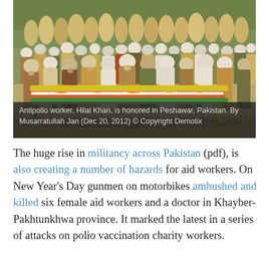[Figure (photo): A funeral scene in Peshawar, Pakistan. A body lies on a decorated charpoy (bed frame) in the foreground, covered in white cloth and flowers. A large crowd of men in traditional South Asian dress, many wearing white caps, stand behind in rows offering prayers. Trees are visible in the background.]
Antipolio worker, Hilal Khan, is honored in Peshawar, Pakistan. By Musarratullah Jan (Dec 20, 2012) © Copyright Demotix
The huge rise in militancy across Pakistan (pdf), is also creating a number of hazards for aid workers. On New Year's Day gunmen on motorbikes ambushed and killed six female aid workers and a doctor in Khayber-Pakhtunkhwa province. It marked the latest in a series of attacks on polio vaccination charity workers.